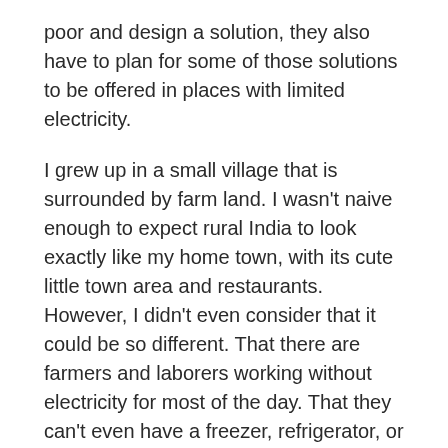poor and design a solution, they also have to plan for some of those solutions to be offered in places with limited electricity.
I grew up in a small village that is surrounded by farm land. I wasn't naive enough to expect rural India to look exactly like my home town, with its cute little town area and restaurants. However, I didn't even consider that it could be so different. That there are farmers and laborers working without electricity for most of the day. That they can't even have a freezer, refrigerator, or lighting. To me, growing up in a small village was idyllic and pretty darn awesome. Yes everyone knew what everyone else was up to (and when you were in trouble, which happened to me more than most would believe, the whole town knew). But there was also a comfort in knowing that 3,500 other people cared about us as students, musicians, athletes (except me, stop laughing), and as humans in general. On top of it, I still had every opportunity that anyone in a